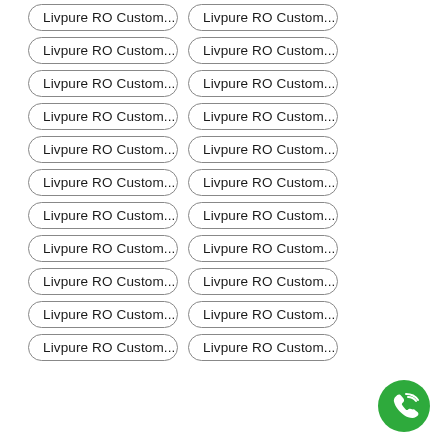Livpure RO Custom...
Livpure RO Custom...
Livpure RO Custom...
Livpure RO Custom...
Livpure RO Custom...
Livpure RO Custom...
Livpure RO Custom...
Livpure RO Custom...
Livpure RO Custom...
Livpure RO Custom...
Livpure RO Custom...
Livpure RO Custom...
Livpure RO Custom...
Livpure RO Custom...
Livpure RO Custom...
Livpure RO Custom...
Livpure RO Custom...
Livpure RO Custom...
Livpure RO Custom...
Livpure RO Custom...
Livpure RO Custom...
Livpure RO Custom...
[Figure (illustration): Green circular phone/call button icon in the bottom right corner]